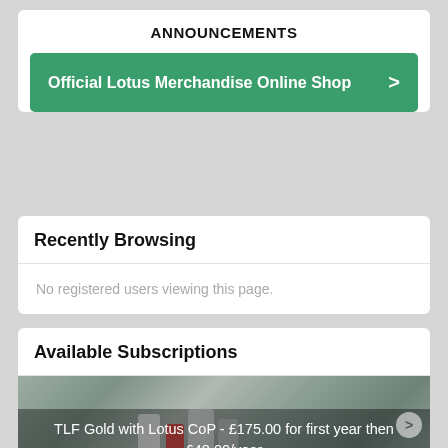ANNOUNCEMENTS
Official Lotus Merchandise Online Shop
Recently Browsing
No registered users viewing this page.
Available Subscriptions
TLF Gold with Lotus CoP - £175.00 for first year then £48.00/year